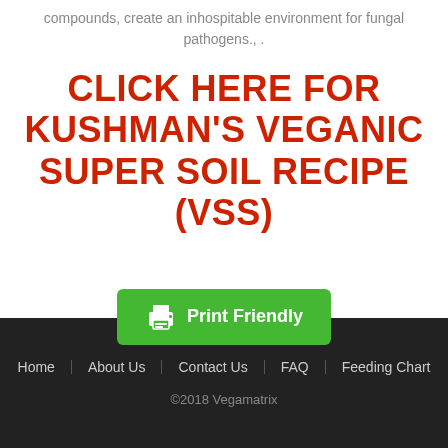compounds, create an inhospitable environment for fungal pathogens., .
CLICK HERE FOR KUSHMAN'S VEGANIC SUPER SOIL RECIPE (VSS)
[Figure (other): Green 'Print Friendly' button with printer icon]
Home   About Us   Contact Us   FAQ   Feeding Chart   ©2018 Vegamatrix